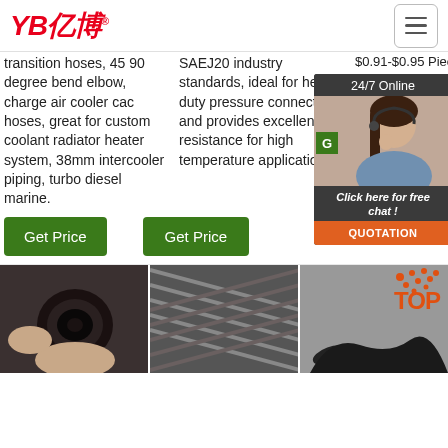[Figure (logo): YB亿博 logo in red italic text]
transition hoses, 45 90 degree bend elbow, charge air cooler cac hoses, great for custom coolant radiator heater system, 38mm intercooler piping, turbo diesel marine.
SAEJ20 industry standards, ideal for heavy duty pressure connections and provides excellent resistance for high temperature applications.
$0.91-$0.95 Piece
[Figure (infographic): 24/7 Online chat widget with female customer service agent wearing headset, Click here for free chat! text, and QUOTATION orange button]
Get Price
Get Price
[Figure (photo): Close-up photo of a rubber hose end cross-section held in hand]
[Figure (photo): Close-up photo of braided/woven flexible hose]
[Figure (photo): Photo of hoses with TOP badge overlay in orange]